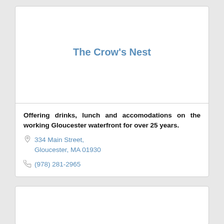The Crow's Nest
Offering drinks, lunch and accomodations on the working Gloucester waterfront for over 25 years.
334 Main Street, Gloucester, MA 01930
(978) 281-2965